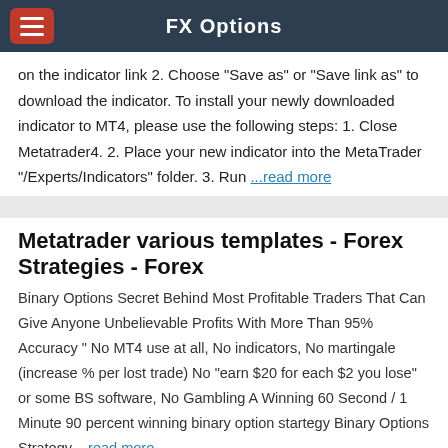FX Options
on the indicator link 2. Choose "Save as" or "Save link as" to download the indicator. To install your newly downloaded indicator to MT4, please use the following steps: 1. Close Metatrader4. 2. Place your new indicator into the MetaTrader "/Experts/Indicators" folder. 3. Run ...read more
Metatrader various templates - Forex Strategies - Forex
Binary Options Secret Behind Most Profitable Traders That Can Give Anyone Unbelievable Profits With More Than 95% Accuracy " No MT4 use at all, No indicators, No martingale (increase % per lost trade) No "earn $20 for each $2 you lose" or some BS software, No Gambling A Winning 60 Second / 1 Minute 90 percent winning binary option startegy Binary Options Strategy ...read more